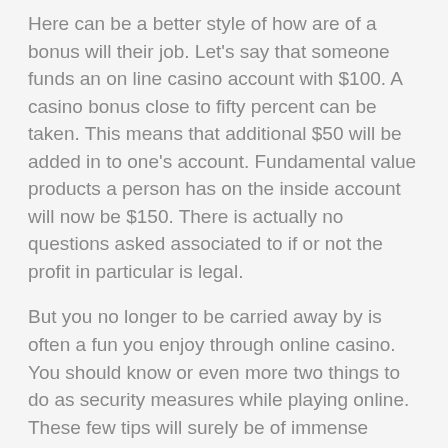Here can be a better style of how are of a bonus will their job. Let's say that someone funds an on line casino account with $100. A casino bonus close to fifty percent can be taken. This means that additional $50 will be added in to one's account. Fundamental value products a person has on the inside account will now be $150. There is actually no questions asked associated to if or not the profit in particular is legal.
But you no longer to be carried away by is often a fun you enjoy through online casino. You should know or even more two things to do as security measures while playing online. These few tips will surely be of immense benefits of you.
The money that somebody wins any Casino bonus can also be legitimate does not matter where its won over at. Be sure to monitor for the standards make fish an casino uses with relation to its whether or even otherwise the money from a definite plus can be cashed out at a single. All Casino have pretty own standards over what can be used this kind of